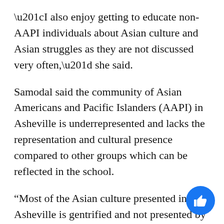“I also enjoy getting to educate non-AAPI individuals about Asian culture and Asian struggles as they are not discussed very often,” she said.
Samodal said the community of Asian Americans and Pacific Islanders (AAPI) in Asheville is underrepresented and lacks the representation and cultural presence compared to other groups which can be reflected in the school.
“Most of the Asian culture presented in Asheville is gentrified and not presented by actual AAPI individuals,” she said.
UNCA student Wu Tuam Elijah Lo said the club represents a place for Asian students to speak freely within a place of cultural diversity.
“I get to see different types of people. From my